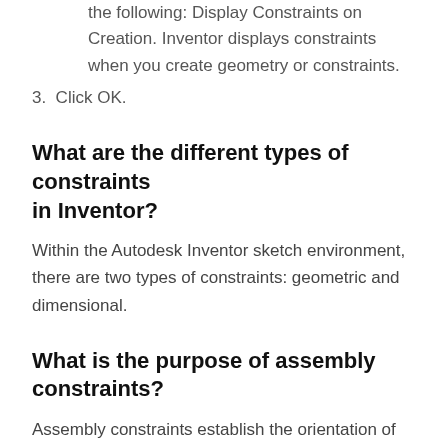the following: Display Constraints on Creation. Inventor displays constraints when you create geometry or constraints.
3. Click OK.
What are the different types of constraints in Inventor?
Within the Autodesk Inventor sketch environment, there are two types of constraints: geometric and dimensional.
What is the purpose of assembly constraints?
Assembly constraints establish the orientation of the